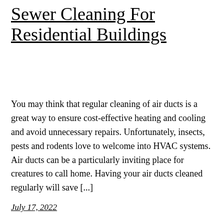Sewer Cleaning For Residential Buildings
You may think that regular cleaning of air ducts is a great way to ensure cost-effective heating and cooling and avoid unnecessary repairs. Unfortunately, insects, pests and rodents love to welcome into HVAC systems. Air ducts can be a particularly inviting place for creatures to call home. Having your air ducts cleaned regularly will save [...]
July 17, 2022